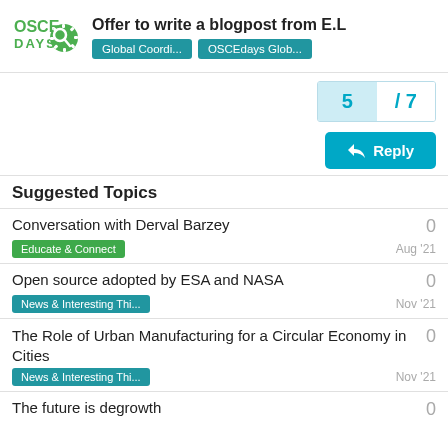Offer to write a blogpost from E.L — Global Coordi... | OSCEdays Glob...
5 / 7
Reply
Suggested Topics
Conversation with Derval Barzey
Educate & Connect
Aug '21
0
Open source adopted by ESA and NASA
News & Interesting Thi...
Nov '21
0
The Role of Urban Manufacturing for a Circular Economy in Cities
News & Interesting Thi...
Nov '21
0
The future is degrowth
0